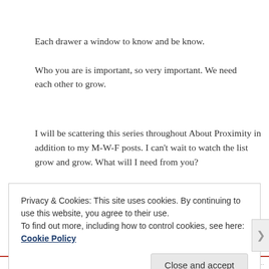Each drawer a window to know and be know.
Who you are is important, so very important. We need each other to grow.
I will be scattering this series throughout About Proximity in addition to my M-W-F posts. I can't wait to watch the list grow and grow. What will I need from you?
Privacy & Cookies: This site uses cookies. By continuing to use this website, you agree to their use.
To find out more, including how to control cookies, see here: Cookie Policy
Close and accept